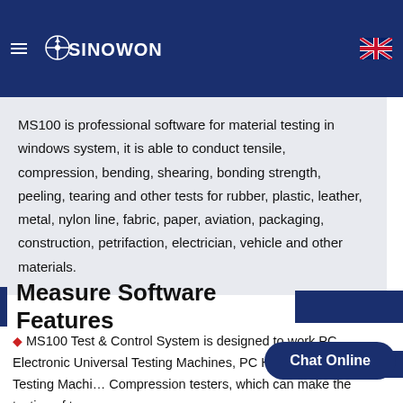SINOWON
MS100 is professional software for material testing in windows system, it is able to conduct tensile, compression, bending, shearing, bonding strength, peeling, tearing and other tests for rubber, plastic, leather, metal, nylon line, fabric, paper, aviation, packaging, construction, petrifaction, electrician, vehicle and other materials.
Measure Software Features
MS100 Test & Control System is designed to work PC Electronic Universal Testing Machines, PC Hydraulic Universal Testing Machines, Compression testers, which can make the testing of tens...